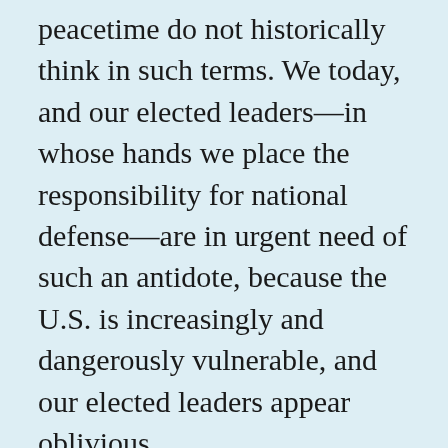peacetime do not historically think in such terms. We today, and our elected leaders—in whose hands we place the responsibility for national defense—are in urgent need of such an antidote, because the U.S. is increasingly and dangerously vulnerable, and our elected leaders appear oblivious. One would think the attack on September 11, 2001, would have awakened Americans for the foreseeable future to the need to prepare for